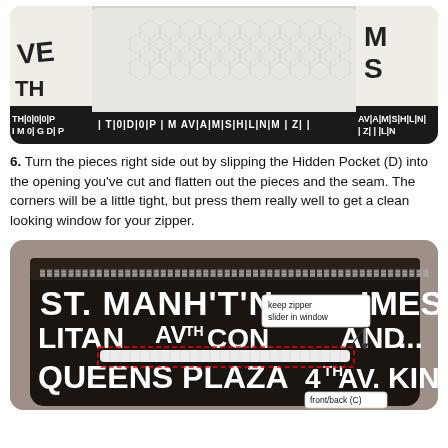[Figure (photo): Close-up photo of fabric pieces with newspaper/text print pattern, shown from above with rounded corners, light gray background visible.]
6. Turn the pieces right side out by slipping the Hidden Pocket (D) into the opening you've cut and flatten out the pieces and the seam. The corners will be a little tight, but press them really well to get a clean looking window for your zipper.
[Figure (photo): Photo of a sewn fabric bag made from newspaper-print fabric (showing text like ST. MANH'T'N, LITAN, QUEENS PLAZA, TIMES, AND, KINGS, 4TH AV). A white zipper is shown horizontally across the middle with a red dashed rectangle around it. Two annotation labels are visible: 'keep zipper slider in window' with an arrow pointing to the zipper area, and 'front/back (C)' label at the bottom right.]